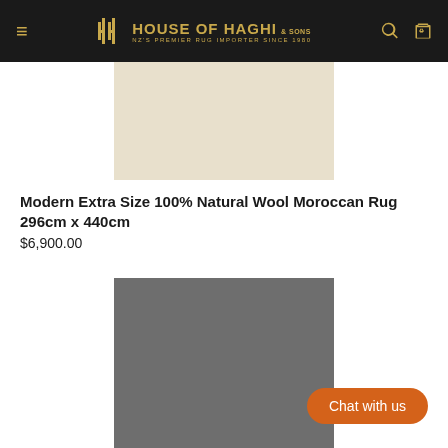HOUSE OF HAGHI & SONS — NZ's PREMIER RUG IMPORTER SINCE 1980
[Figure (photo): Product photo of a cream/beige coloured Moroccan rug on white background]
Modern Extra Size 100% Natural Wool Moroccan Rug 296cm x 440cm
$6,900.00
[Figure (photo): Product photo of a grey coloured rug on dark background]
Chat with us